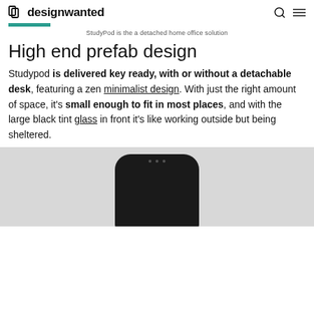designwanted
StudyPod is the a detached home office solution
High end prefab design
Studypod is delivered key ready, with or without a detachable desk, featuring a zen minimalist design. With just the right amount of space, it's small enough to fit in most places, and with the large black tint glass in front it's like working outside but being sheltered.
[Figure (photo): Photo of a dark-colored StudyPod prefab office unit shown from above against a light grey background]